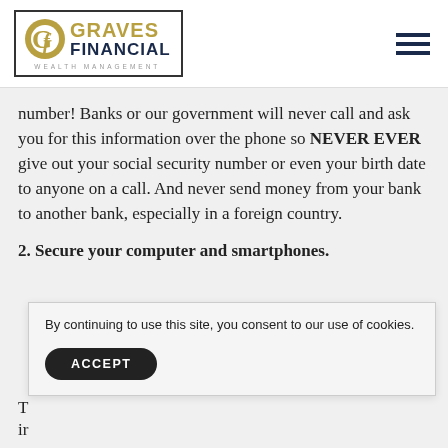[Figure (logo): Graves Financial Wealth Management logo with gold GF monogram and navy blue text, inside a rectangular border]
number! Banks or our government will never call and ask you for this information over the phone so NEVER EVER give out your social security number or even your birth date to anyone on a call. And never send money from your bank to another bank, especially in a foreign country.
2. Secure your computer and smartphones.
By continuing to use this site, you consent to our use of cookies.
ACCEPT
T
ir